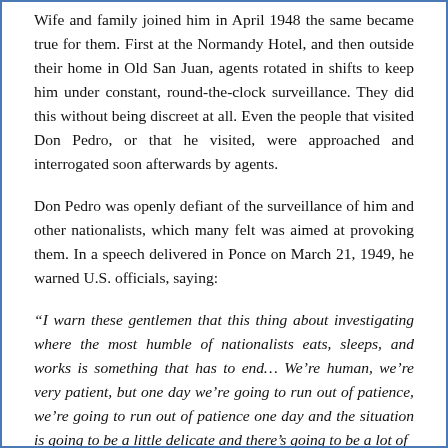Wife and family joined him in April 1948 the same became true for them. First at the Normandy Hotel, and then outside their home in Old San Juan, agents rotated in shifts to keep him under constant, round-the-clock surveillance. They did this without being discreet at all. Even the people that visited Don Pedro, or that he visited, were approached and interrogated soon afterwards by agents.
Don Pedro was openly defiant of the surveillance of him and other nationalists, which many felt was aimed at provoking them. In a speech delivered in Ponce on March 21, 1949, he warned U.S. officials, saying:
“I warn these gentlemen that this thing about investigating where the most humble of nationalists eats, sleeps, and works is something that has to end… We’re human, we’re very patient, but one day we’re going to run out of patience, we’re going to run out of patience one day and the situation is going to be a little delicate and there’s going to be a lot of